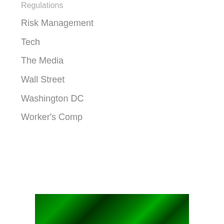Regulations
Risk Management
Tech
The Media
Wall Street
Washington DC
Worker's Comp
[Figure (photo): Green foliage or plant image at the bottom of the page]